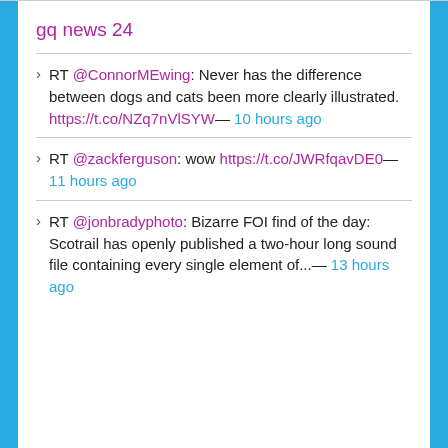gq news 24
RT @ConnorMEwing: Never has the difference between dogs and cats been more clearly illustrated. https://t.co/NZq7nVlSYW— 10 hours ago
RT @zackferguson: wow https://t.co/JWRfqavDE0— 11 hours ago
RT @jonbradyphoto: Bizarre FOI find of the day: Scotrail has openly published a two-hour long sound file containing every single element of...— 13 hours ago